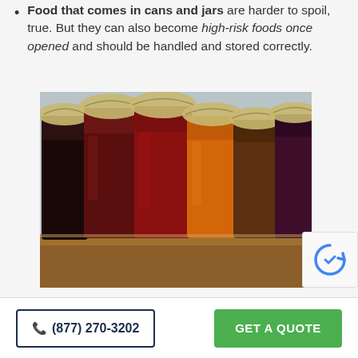Food that comes in cans and jars are harder to spoil, true. But they can also become high-risk foods once opened and should be handled and stored correctly.
[Figure (photo): A row of glass jars filled with various preserves and jams on a wooden shelf. Jars contain dark purple/black, red, bright red, orange, and brown preserves, each covered with cloth tops tied with twine.]
(877) 270-3202
GET A QUOTE